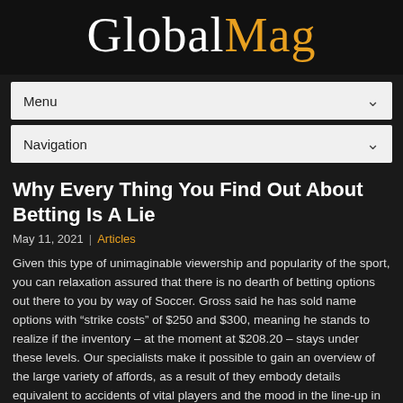GlobalMag
Menu
Navigation
Why Every Thing You Find Out About Betting Is A Lie
May 11, 2021 | Articles
Given this type of unimaginable viewership and popularity of the sport, you can relaxation assured that there is no dearth of betting options out there to you by way of Soccer. Gross said he has sold name options with “strike costs” of $250 and $300, meaning he stands to realize if the inventory – at the moment at $208.20 – stays under these levels. Our specialists make it possible to gain an overview of the large variety of affords, as a result of they embody details equivalent to accidents of vital players and the mood in the line-up in their recommendations. As you gain experience with golf betting, you’ll come to search out that the